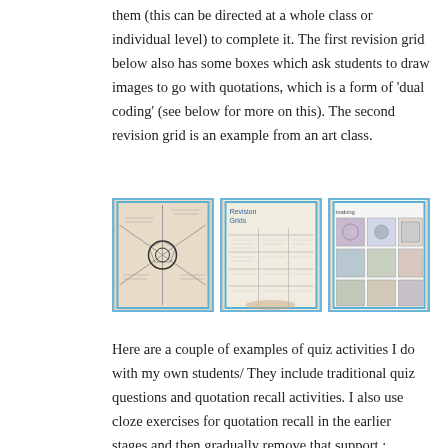them (this can be directed at a whole class or individual level) to complete it. The first revision grid below also has some boxes which ask students to draw images to go with quotations, which is a form of 'dual coding' (see below for more on this). The second revision grid is an example from an art class.
[Figure (photo): Three photographs showing examples of revision grids: a radial mind-map style grid, a folded revision grid, and an art class revision grid with images.]
Here are a couple of examples of quiz activities I do with my own students/ They include traditional quiz questions and quotation recall activities. I also use cloze exercises for quotation recall in the earlier stages and then gradually remove that support.: